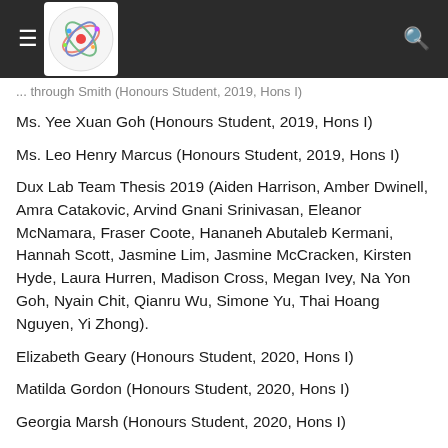[Navigation header with logo and search icon]
... through Smith (Honours Student, 2019, Hons I)
Ms. Yee Xuan Goh (Honours Student, 2019, Hons I)
Ms. Leo Henry Marcus (Honours Student, 2019, Hons I)
Dux Lab Team Thesis 2019 (Aiden Harrison, Amber Dwinell, Amra Catakovic, Arvind Gnani Srinivasan, Eleanor McNamara, Fraser Coote, Hananeh Abutaleb Kermani, Hannah Scott, Jasmine Lim, Jasmine McCracken, Kirsten Hyde, Laura Hurren, Madison Cross, Megan Ivey, Na Yon Goh, Nyain Chit, Qianru Wu, Simone Yu, Thai Hoang Nguyen, Yi Zhong).
Elizabeth Geary (Honours Student, 2020, Hons I)
Matilda Gordon (Honours Student, 2020, Hons I)
Georgia Marsh (Honours Student, 2020, Hons I)